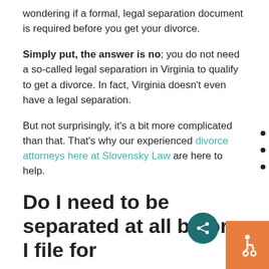wondering if a formal, legal separation document is required before you get your divorce.
Simply put, the answer is no; you do not need a so-called legal separation in Virginia to qualify to get a divorce. In fact, Virginia doesn't even have a legal separation.
But not surprisingly, it's a bit more complicated than that. That's why our experienced divorce attorneys here at Slovensky Law are here to help.
Do I need to be separated at all before I file for